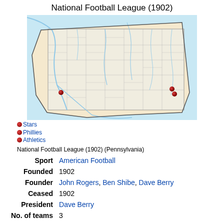National Football League (1902)
[Figure (map): Map of Pennsylvania showing county boundaries with three red dot markers indicating locations of Stars, Phillies, and Athletics teams.]
Stars
Phillies
Athletics
National Football League (1902) (Pennsylvania)
| Sport | American Football |
| Founded | 1902 |
| Founder | John Rogers, Ben Shibe, Dave Berry |
| Ceased | 1902 |
| President | Dave Berry |
| No. of teams | 3 |